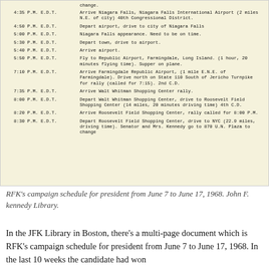[Figure (photo): Scanned typewritten schedule document on yellowed paper showing RFK campaign schedule entries from approximately 4:35 PM to 8:30 PM EDT, listing times, time zones, and descriptions of campaign stops.]
RFK's campaign schedule for president from June 7 to June 17, 1968. John F. kennedy Library.
In the JFK Library in Boston, there's a multi-page document which is RFK's campaign schedule for president from June 7 to June 17, 1968. In the last 10 weeks the candidate had won